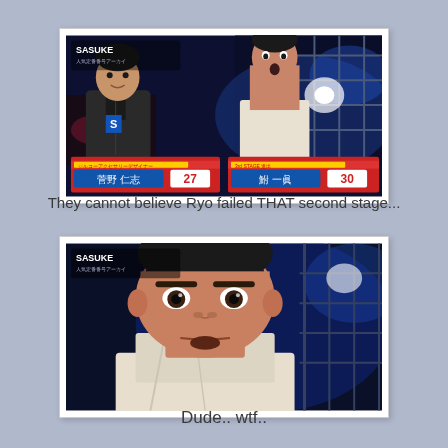[Figure (photo): TV screenshot from Japanese ninja warrior show (Sasuke/Kunoichi style) showing two men side by side: left man in black jacket with name tag showing Japanese characters and number 27, right man shirtless with towel with name tag and number 30, in front of obstacle course stage with blue lighting]
They cannot believe Ryo failed THAT second stage...
[Figure (photo): TV screenshot close-up of shirtless man wrapped in white towel with shocked/dismayed facial expression, same Japanese ninja warrior show, blue lit obstacle course in background]
Dude.. wtf..